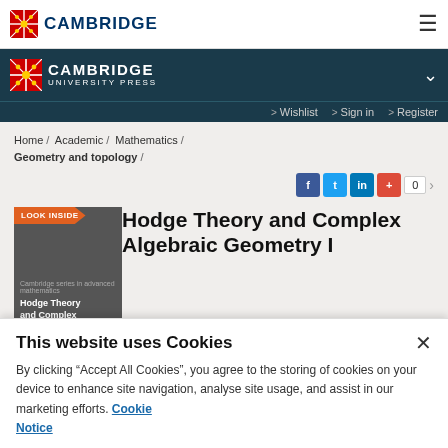CAMBRIDGE
CAMBRIDGE UNIVERSITY PRESS
> Wishlist > Sign in > Register
Home / Academic / Mathematics / Geometry and topology /
Hodge Theory and Complex Algebraic Geometry I
This website uses Cookies
By clicking "Accept All Cookies", you agree to the storing of cookies on your device to enhance site navigation, analyse site usage, and assist in our marketing efforts. Cookie Notice